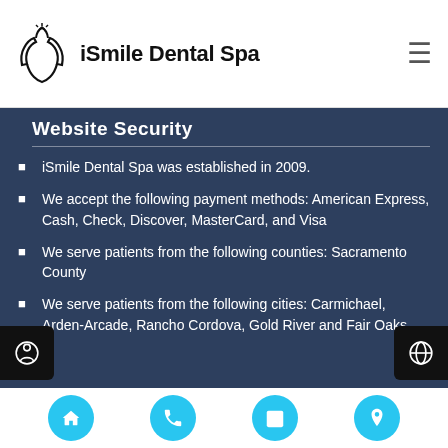iSmile Dental Spa
Website Security
iSmile Dental Spa was established in 2009.
We accept the following payment methods: American Express, Cash, Check, Discover, MasterCard, and Visa
We serve patients from the following counties: Sacramento County
We serve patients from the following cities: Carmichael, Arden-Arcade, Rancho Cordova, Gold River and Fair Oaks
Navigation: Home, Phone, Calendar, Location